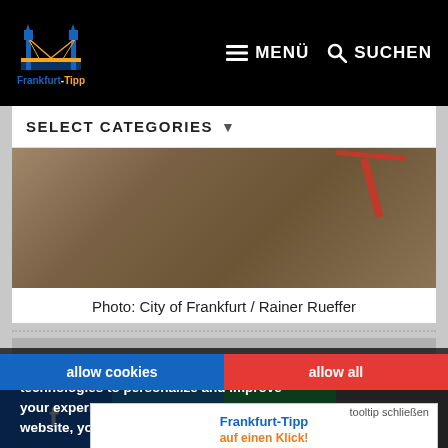Frankfurt-Tipp MENÜ SUCHEN
SELECT CATEGORIES
[Figure (photo): Aerial photo of construction site with crane and roof damage]
Photo: City of Frankfurt / Rainer Rueffer
A moment of shock in Frankfurt's city centre: storm "Sabine", which caused relatively little damage in the Main metropolis, caused the jib of the structural engineering crane at the cathedral to fall onto the roof of the south transept on Monday night. As a result, the roof of the aisle has sustained significant damage to the eastern and western roof surfaces. The ridge structure has also been affected
We use cookies and other tracking technologies to personalize and improve your experience. By continuing to use our website, you are agreeing to this. tooltip schließen Frankfurt-Tipp auf einen Klick! Einfach auf das Symbol tippen und zum Home-Bildschirm hinzufügen
allow cookies
allow all
Facebook Twitter WhatsApp Email